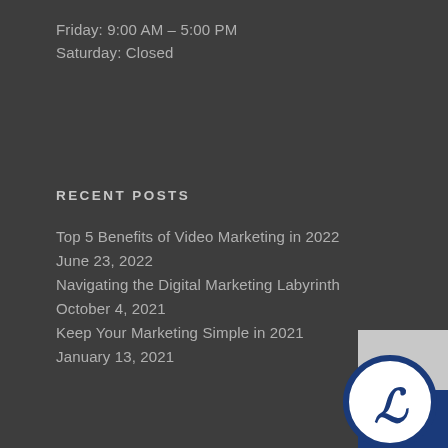Friday: 9:00 AM – 5:00 PM
Saturday: Closed
RECENT POSTS
Top 5 Benefits of Video Marketing in 2022
June 23, 2022
Navigating the Digital Marketing Labyrinth
October 4, 2021
Keep Your Marketing Simple in 2021
January 13, 2021
[Figure (logo): Company logo — circular blue badge with stylized 'IL' or similar lettermark on white/grey background, blue and white colors, bottom-right corner]